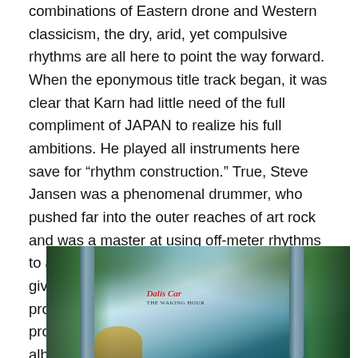combinations of Eastern drone and Western classicism, the dry, arid, yet compulsive rhythms are all here to point the way forward. When the eponymous title track began, it was clear that Karn had little need of the full compliment of JAPAN to realize his full ambitions. He played all instruments here save for “rhythm construction.” True, Steve Jansen was a phenomenal drummer, who pushed far into the outer reaches of art rock and was a master at using off-meter rhythms to advance the music dramatically, but I must give credit for the metronomic beatbox programming of Paul Vincent Lawford for providing the unsung glue that held this album together.
[Figure (photo): Album cover image showing 'Dalis Car' album artwork with classical columns, lush green trees/foliage, and a blue sky background. The text 'Dalis Car' appears in red italic script near the center of the image.]